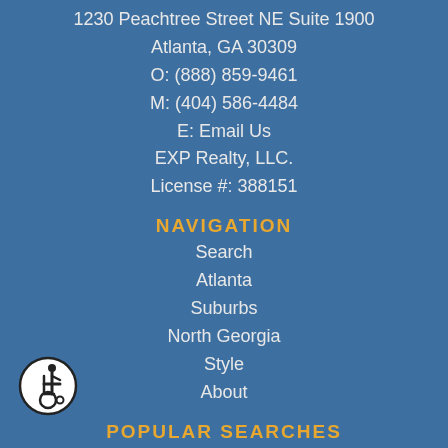1230 Peachtree Street NE Suite 1900
Atlanta, GA 30309
O: (888) 859-9461
M: (404) 586-4484
E: Email Us
EXP Realty, LLC.
License #: 388151
NAVIGATION
Search
Atlanta
Suburbs
North Georgia
Style
About
POPULAR SEARCHES
[Figure (illustration): Wheelchair accessibility icon - circular symbol with person in wheelchair on white circle with black border]